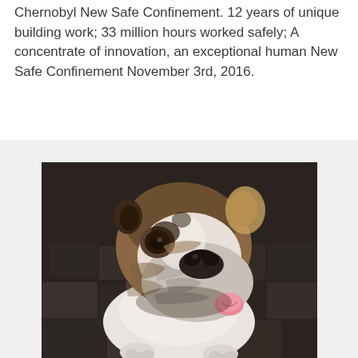Chernobyl New Safe Confinement. 12 years of unique building work; 33 million hours worked safely; A concentrate of innovation, an exceptional human New Safe Confinement November 3rd, 2016.
[Figure (photo): Close-up photo of a bulldog (French or English bulldog) with white and tan/brown fur, black markings on face, wearing a red collar, tilting its head and looking up at the camera. The dog is standing on stone/cobblestone pavement.]